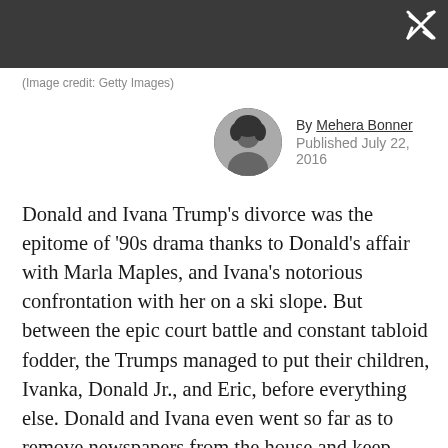(Image credit: Getty Images)
By Mehera Bonner
Published July 22, 2016
Donald and Ivana Trump's divorce was the epitome of '90s drama thanks to Donald's affair with Marla Maples, and Ivana's notorious confrontation with her on a ski slope. But between the epic court battle and constant tabloid fodder, the Trumps managed to put their children, Ivanka, Donald Jr., and Eric, before everything else. Donald and Ivana even went so far as to remove newspapers from the house and keep their kids away from the television.